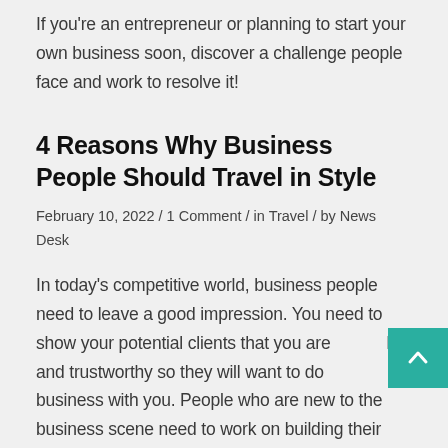If you're an entrepreneur or planning to start your own business soon, discover a challenge people face and work to resolve it!
4 Reasons Why Business People Should Travel in Style
February 10, 2022 / 1 Comment / in Travel / by News Desk
In today's competitive world, business people need to leave a good impression. You need to show your potential clients that you are reliable and trustworthy so they will want to do business with you. People who are new to the business scene need to work on building their